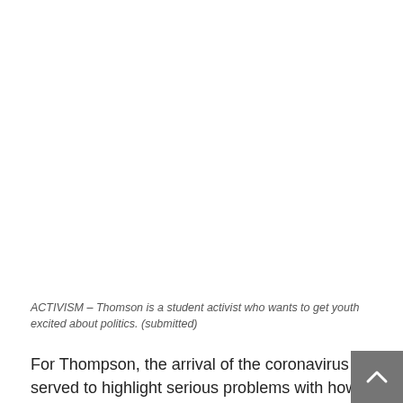[Figure (photo): Large image area (whitespace/blank area where a photo would appear) in the upper portion of the page showing Thomson, a student activist.]
ACTIVISM – Thomson is a student activist who wants to get youth excited about politics. (submitted)
For Thompson, the arrival of the coronavirus served to highlight serious problems with how Starbucks treats its